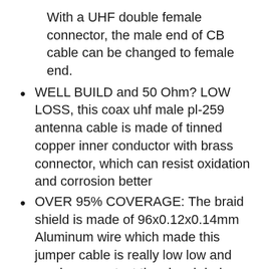With a UHF double female connector, the male end of CB cable can be changed to female end.
WELL BUILD and 50 Ohm? LOW LOSS, this coax uhf male pl-259 antenna cable is made of tinned copper inner conductor with brass connector, which can resist oxidation and corrosion better
OVER 95% COVERAGE: The braid shield is made of 96x0.12x0.14mm Aluminum wire which made this jumper cable is really low low and maximum protect the signal during the transmission
NO OBVISE SWR RISING, after testing, this RG58 Coax cable does